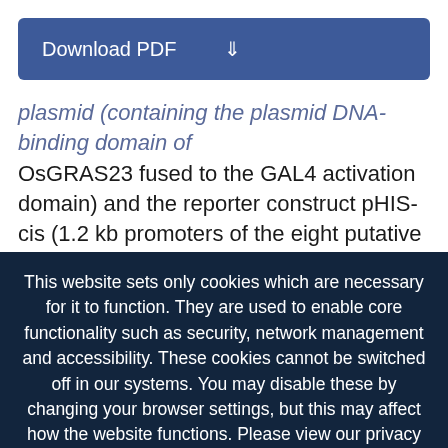[Figure (screenshot): Download PDF button with dark blue background and download icon]
plasmid (containing the plasmid DNA-binding domain of OsGRAS23 fused to the GAL4 activation domain) and the reporter construct pHIS-cis (1.2 kb promoters of the eight putative target genes) were co-transformed into yeast strain Y187(Fig. 8A). As indicated by the activation of the reporter genes, OsGRAS23 can bind to the
This website sets only cookies which are necessary for it to function. They are used to enable core functionality such as security, network management and accessibility. These cookies cannot be switched off in our systems. You may disable these by changing your browser settings, but this may affect how the website functions. Please view our privacy policy for further details on how we process your information. Dismiss